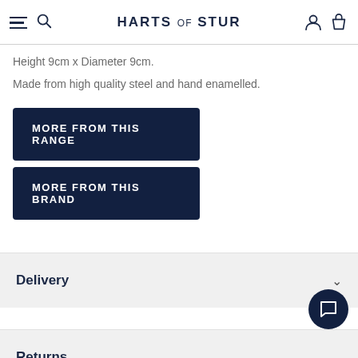HARTS of STUR
Height 9cm x Diameter 9cm.
Made from high quality steel and hand enamelled.
MORE FROM THIS RANGE
MORE FROM THIS BRAND
Delivery
Returns